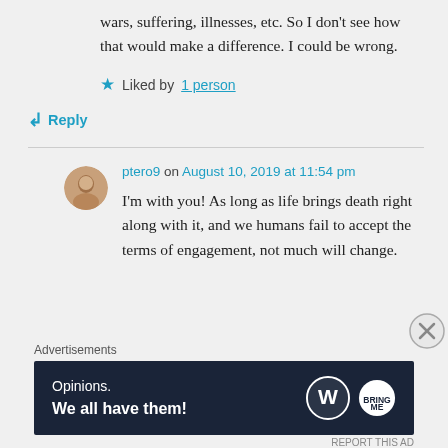wars, suffering, illnesses, etc. So I don't see how that would make a difference. I could be wrong.
Liked by 1 person
Reply
ptero9 on August 10, 2019 at 11:54 pm
I'm with you! As long as life brings death right along with it, and we humans fail to accept the terms of engagement, not much will change.
Advertisements
[Figure (other): WordPress advertisement banner: dark navy background with text 'Opinions. We all have them!' and WordPress logo and BringMe logo on the right. Close button (X in circle) in the bottom-right corner.]